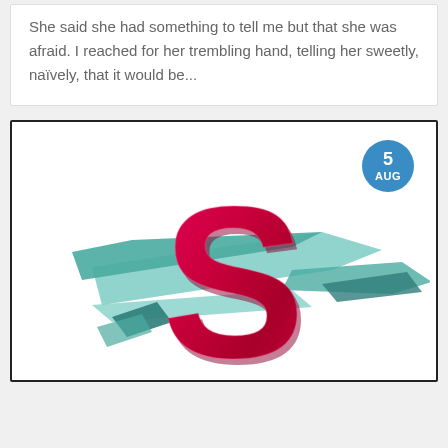She said she had something to tell me but that she was afraid. I reached for her trembling hand, telling her sweetly, naïvely, that it would be...
[Figure (illustration): A large bold 3D letter 'S' in crimson/deep pink color with teal/mint geometric ribbon shapes in the background. A blue circular date badge in the top right shows '5 AUG'.]